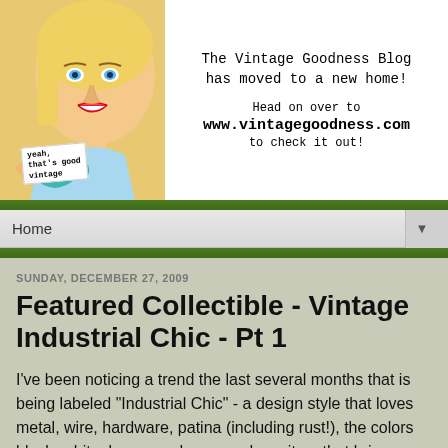[Figure (illustration): Vintage-style illustration of a smiling woman with blue eyes holding a blue coffee cup, with a white label tag reading 'yeah, that's good vintage']
The Vintage Goodness Blog has moved to a new home!

Head on over to www.vintagegoodness.com to check it out!
Home
SUNDAY, DECEMBER 27, 2009
Featured Collectible - Vintage Industrial Chic - Pt 1
I've been noticing a trend the last several months that is being labeled "Industrial Chic" - a design style that loves metal, wire, hardware, patina (including rust!), the colors black, white, brown and gray, and any item that brings an